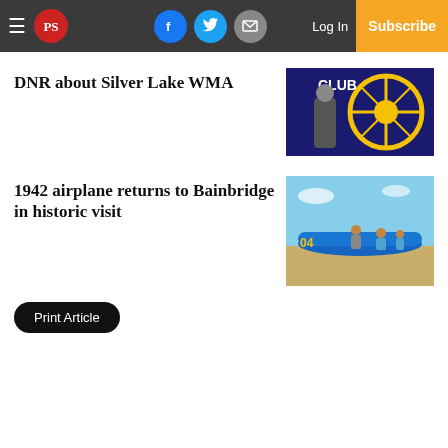PS | Log In | Subscribe
DNR about Silver Lake WMA
[Figure (photo): Man standing in front of a Rotary Club banner/sign]
1942 airplane returns to Bainbridge in historic visit
[Figure (photo): People standing on a blue vintage airplane on a runway under blue sky]
Print Article